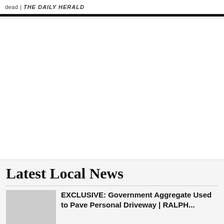dead | THE DAILY HERALD
Latest Local News
EXCLUSIVE: Government Aggregate Used to Pave Personal Driveway | RALPH...